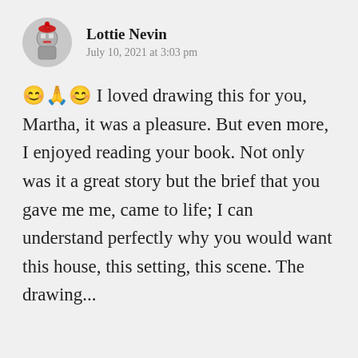Lottie Nevin — July 10, 2021 at 3:03 pm
😊🙏😊 I loved drawing this for you, Martha, it was a pleasure. But even more, I enjoyed reading your book. Not only was it a great story but the brief that you gave me me, came to life; I can understand perfectly why you would want this house, this setting, this scene. The drawing...